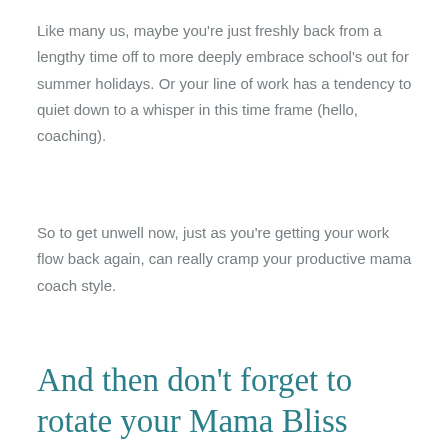Like many us, maybe you're just freshly back from a lengthy time off to more deeply embrace school's out for summer holidays. Or your line of work has a tendency to quiet down to a whisper in this time frame (hello, coaching).
So to get unwell now, just as you're getting your work flow back again, can really cramp your productive mama coach style.
And then don't forget to rotate your Mama Bliss